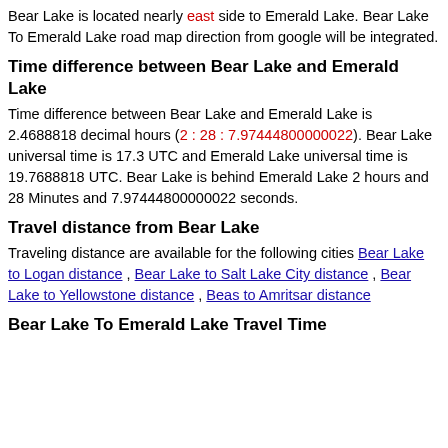Bear Lake is located nearly east side to Emerald Lake. Bear Lake To Emerald Lake road map direction from google will be integrated.
Time difference between Bear Lake and Emerald Lake
Time difference between Bear Lake and Emerald Lake is 2.4688818 decimal hours (2 : 28 : 7.97444800000022). Bear Lake universal time is 17.3 UTC and Emerald Lake universal time is 19.7688818 UTC. Bear Lake is behind Emerald Lake 2 hours and 28 Minutes and 7.97444800000022 seconds.
Travel distance from Bear Lake
Traveling distance are available for the following cities Bear Lake to Logan distance , Bear Lake to Salt Lake City distance , Bear Lake to Yellowstone distance , Beas to Amritsar distance
Bear Lake To Emerald Lake Travel Time